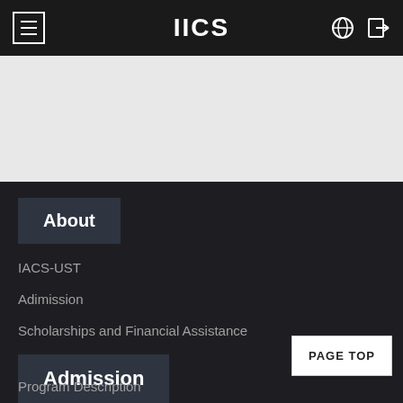IICS
About
IACS-UST
Adimission
Scholarships and Financial Assistance
Admission
Program Description
PAGE TOP